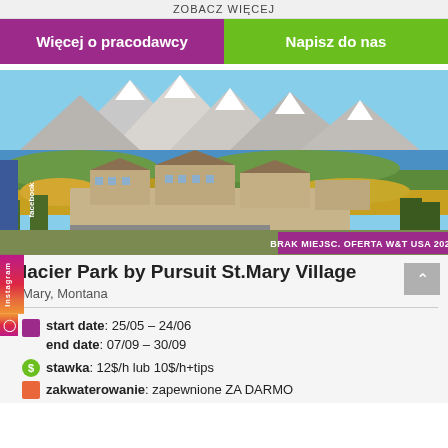ZOBACZ WIĘCEJ
Więcej o pracodawcy
Napisz do nas
[Figure (photo): Aerial/landscape photo of Glacier Park area with snow-capped mountains, a blue lake, green forests, and a hotel/village complex in the foreground. A 'facebook' vertical tab is visible on the left side. A purple badge reads 'BRAK MIEJSC. OFERTA W&T USA 2022' at the bottom right.]
lacier Park by Pursuit St.Mary Village
Mary, Montana
start date: 25/05 – 24/06
end date: 07/09 – 30/09
stawka: 12$/h lub 10$/h+tips
zakwaterowanie: zapewnione ZA DARMO